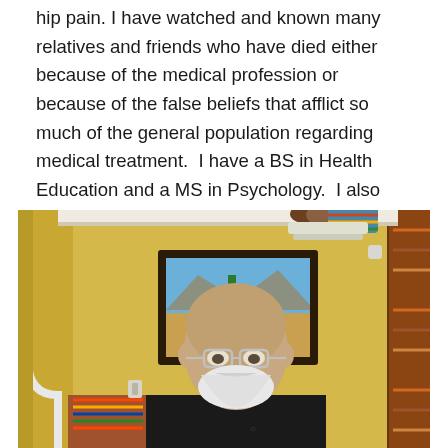hip pain. I have watched and known many relatives and friends who have died either because of the medical profession or because of the false beliefs that afflict so much of the general population regarding medical treatment. I have a BS in Health Education and a MS in Psychology. I also have a wife who has been a nurse for over 50 years and who still works in the medical field.
[Figure (photo): An elderly bald man with glasses and a white beard, wearing a black long-sleeve shirt, standing in a room with yellow walls, a framed landscape painting behind him, decorative items on a shelf above, a colorful woven chair to the left, and a woven rug/basket on the right.]